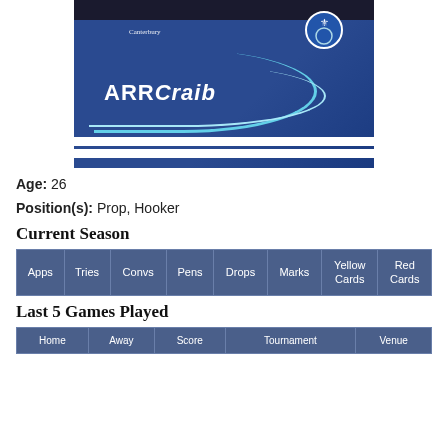[Figure (photo): Rugby player wearing a blue Canterbury jersey with ArrCraib sponsor and club badge, dark collar visible at top]
Age: 26
Position(s): Prop, Hooker
Current Season
| Apps | Tries | Convs | Pens | Drops | Marks | Yellow Cards | Red Cards |
| --- | --- | --- | --- | --- | --- | --- | --- |
Last 5 Games Played
| Home | Away | Score | Tournament | Venue |
| --- | --- | --- | --- | --- |